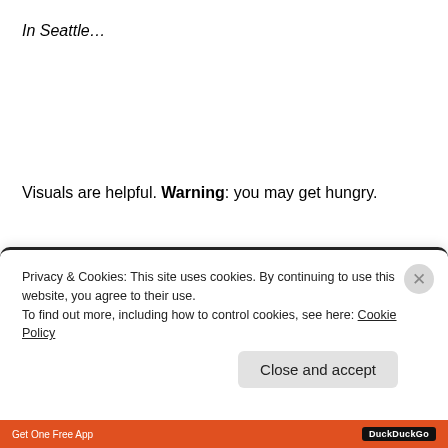In Seattle…
Visuals are helpful. Warning: you may get hungry.
Privacy & Cookies: This site uses cookies. By continuing to use this website, you agree to their use.
To find out more, including how to control cookies, see here: Cookie Policy
Close and accept